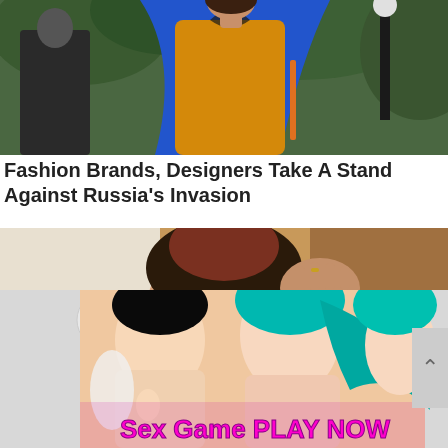[Figure (photo): Woman wearing yellow halter dress with blue draped fabric/shawl over shoulder, outdoors with greenery background and man in dark jacket behind her]
Fashion Brands, Designers Take A Stand Against Russia's Invasion
[Figure (photo): Close-up of young woman with dark hair pinned up, looking down, bokeh background with warm tones]
[Figure (illustration): Animated/illustrated female characters with colorful hair (black and teal) overlaid with advertisement text 'Sex Game PLAY NOW']